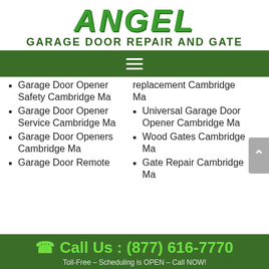ANGEL GARAGE DOOR REPAIR AND GATE
☰ (navigation menu)
Garage Door Opener Safety Cambridge Ma
Garage Door Opener Service Cambridge Ma
Garage Door Openers Cambridge Ma
Garage Door Remote
replacement Cambridge Ma
Universal Garage Door Opener Cambridge Ma
Wood Gates Cambridge Ma
Gate Repair Cambridge Ma
Call Us : (877) 616-7770
Toll-Free – Scheduling is OPEN – Call NOW!